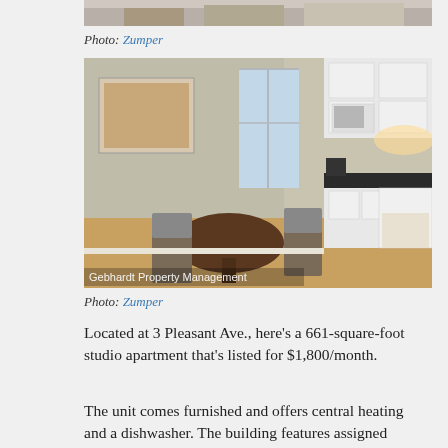[Figure (photo): Partial top of a photo, cropped at top of page]
Photo: Zumper
[Figure (photo): Interior apartment photo showing kitchen with white cabinets and dark countertops, dining area with round table and chairs, hardwood floors. Watermark reads: Gebhardt Property Management]
Photo: Zumper
Located at 3 Pleasant Ave., here’s a 661-square-foot studio apartment that's listed for $1,800/month.
The unit comes furnished and offers central heating and a dishwasher. The building features assigned parking. Luckily for pet owners, both dogs and cats are welcome